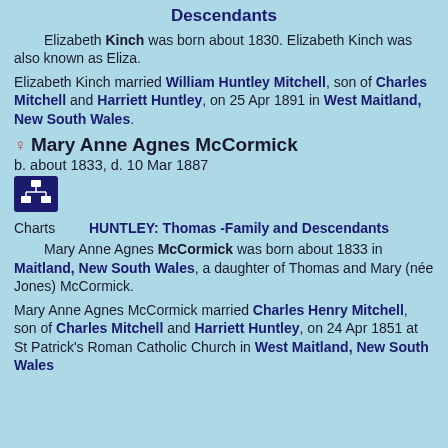Descendants
Elizabeth Kinch was born about 1830. Elizabeth Kinch was also known as Eliza.
Elizabeth Kinch married William Huntley Mitchell, son of Charles Mitchell and Harriett Huntley, on 25 Apr 1891 in West Maitland, New South Wales.
♀ Mary Anne Agnes McCormick
b. about 1833, d. 10 Mar 1887
[Figure (other): Small icon button with org chart/descendants symbol in dark navy blue]
Charts    HUNTLEY: Thomas -Family and Descendants
Mary Anne Agnes McCormick was born about 1833 in Maitland, New South Wales, a daughter of Thomas and Mary (née Jones) McCormick.
Mary Anne Agnes McCormick married Charles Henry Mitchell, son of Charles Mitchell and Harriett Huntley, on 24 Apr 1851 at St Patrick's Roman Catholic Church in West Maitland, New South Wales.